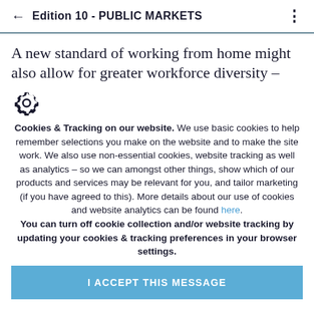← Edition 10 - PUBLIC MARKETS ⋮
A new standard of working from home might also allow for greater workforce diversity –
[Figure (illustration): Gear/settings icon]
Cookies & Tracking on our website.  We use basic cookies to help remember selections you make on the website and to make the site work. We also use non-essential cookies, website tracking as well as analytics – so we can amongst other things, show which of our products and services may be relevant for you, and tailor marketing (if you have agreed to this). More details about our use of cookies and website analytics can be found here. You can turn off cookie collection and/or website tracking by updating your cookies & tracking preferences in your browser settings.
I ACCEPT THIS MESSAGE